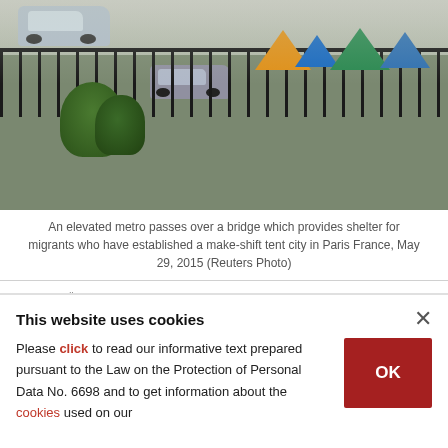[Figure (photo): An elevated metro passing over a bridge with a makeshift tent city below, cars on the road, iron fence, and colorful tents among trees. Paris, France, May 29, 2015.]
An elevated metro passes over a bridge which provides shelter for migrants who have established a make-shift tent city in Paris France, May 29, 2015 (Reuters Photo)
BY BEGÜM TUNAKAN
JUN 01, 2015 12:00 AM
In the heart of Paris, 385 African migrants live in a temporary makeshift camp in the La Chapelle
This website uses cookies
Please click to read our informative text prepared pursuant to the Law on the Protection of Personal Data No. 6698 and to get information about the cookies used on our